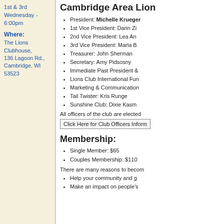1st & 3rd Wednesday - 6:00pm
Where:
The Lions Clubhouse, 136 Lagoon Rd., Cambridge, WI 53523
Cambridge Area Lion
President: Michelle Krueger
1st Vice President: Darin Zi
2nd Vice President: Lea An
3rd Vice President: Marla B
Treasurer: John Sherman
Secretary: Amy Pidsosny
Immediate Past President &
Lions Club International Fun
Marketing & Communication
Tail Twister: Kris Runge
Sunshine Club: Dixie Kasm
All officers of the club are elected
Click Here for Club Officers Inform
Membership:
Single Member: $65
Couples Membership: $110
There are many reasons to becom
Help your community and g
Make an impact on people's